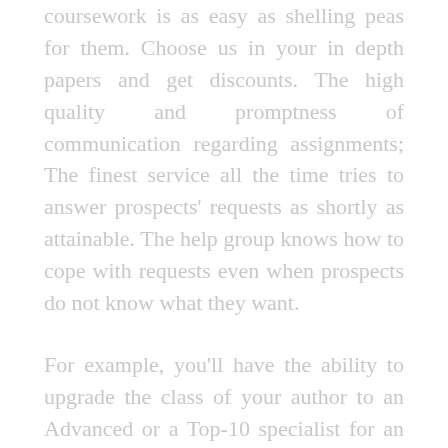coursework is as easy as shelling peas for them. Choose us in your in depth papers and get discounts. The high quality and promptness of communication regarding assignments; The finest service all the time tries to answer prospects' requests as shortly as attainable. The help group knows how to cope with requests even when prospects do not know what they want.
For example, you'll have the ability to upgrade the class of your author to an Advanced or a Top-10 specialist for an extra charge or even ask for a author